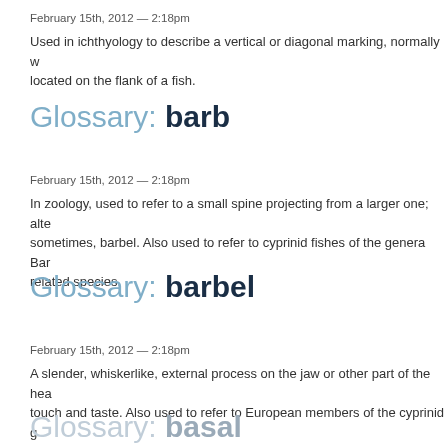February 15th, 2012 — 2:18pm
Used in ichthyology to describe a vertical or diagonal marking, normally w located on the flank of a fish.
Glossary: barb
February 15th, 2012 — 2:18pm
In zoology, used to refer to a small spine projecting from a larger one; alte sometimes, barbel. Also used to refer to cyprinid fishes of the genera Bar related species.
Glossary: barbel
February 15th, 2012 — 2:18pm
A slender, whiskerlike, external process on the jaw or other part of the hea touch and taste. Also used to refer to European members of the cyprinid g
Glossary: basal